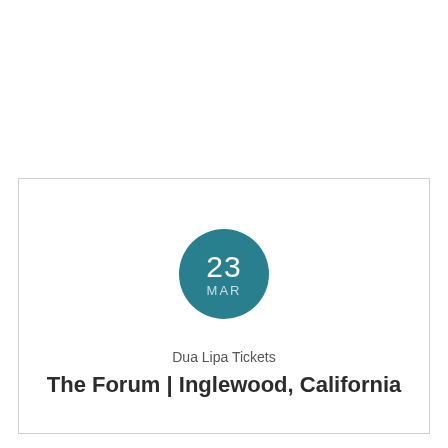[Figure (infographic): Teal circular date badge showing '23' in large white numerals and 'MAR' in smaller light text below, on a white card with border]
Dua Lipa Tickets
The Forum | Inglewood, California
GET TICKETS